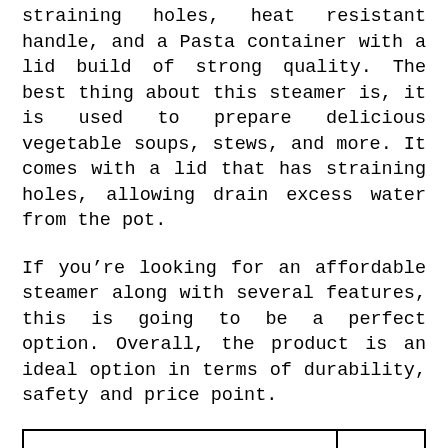straining holes, heat resistant handle, and a Pasta container with a lid build of strong quality. The best thing about this steamer is, it is used to prepare delicious vegetable soups, stews, and more. It comes with a lid that has straining holes, allowing drain excess water from the pot.
If you’re looking for an affordable steamer along with several features, this is going to be a perfect option. Overall, the product is an ideal option in terms of durability, safety and price point.
| Pros | Cons |
| --- | --- |
| This steamer is used |  |